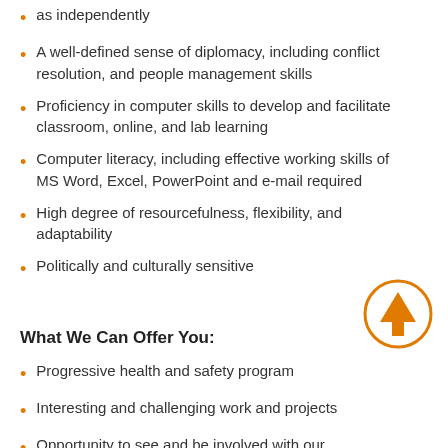as independently
A well-defined sense of diplomacy, including conflict resolution, and people management skills
Proficiency in computer skills to develop and facilitate classroom, online, and lab learning
Computer literacy, including effective working skills of MS Word, Excel, PowerPoint and e-mail required
High degree of resourcefulness, flexibility, and adaptability
Politically and culturally sensitive
What We Can Offer You:
Progressive health and safety program
Interesting and challenging work and projects
Opportunity to see and be involved with our